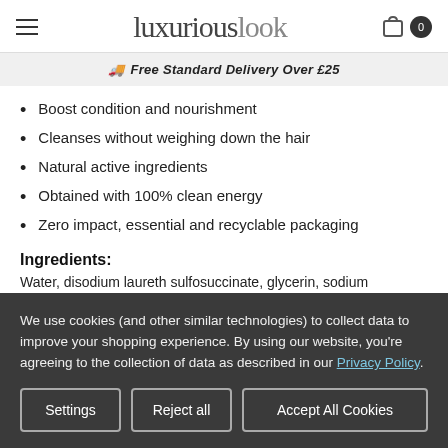luxuriouslook
Free Standard Delivery Over £25
Boost condition and nourishment
Cleanses without weighing down the hair
Natural active ingredients
Obtained with 100% clean energy
Zero impact, essential and recyclable packaging
Ingredients:
Water, disodium laureth sulfosuccinate, glycerin, sodium cocoylisethionate, sodium lauroylmethylistethionate, cocamidopropyl
We use cookies (and other similar technologies) to collect data to improve your shopping experience. By using our website, you're agreeing to the collection of data as described in our Privacy Policy.